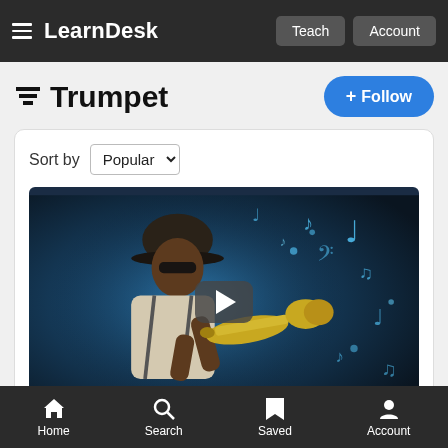LearnDesk — Teach | Account
Trumpet
Sort by Popular
[Figure (screenshot): Video thumbnail showing a man playing trumpet with music notes floating around on a blue background, with a play button overlay]
Home | Search | Saved | Account